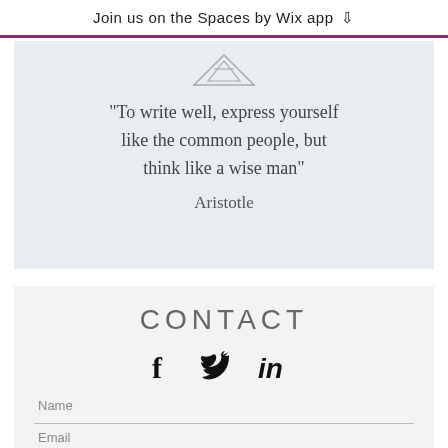Join us on the Spaces by Wix app
[Figure (illustration): Triangle/mountain logo icon outlined in grey]
"To write well, express yourself like the common people, but think like a wise man"
Aristotle
CONTACT
[Figure (infographic): Social media icons: Facebook (f), Twitter (bird), LinkedIn (in)]
Name
Email